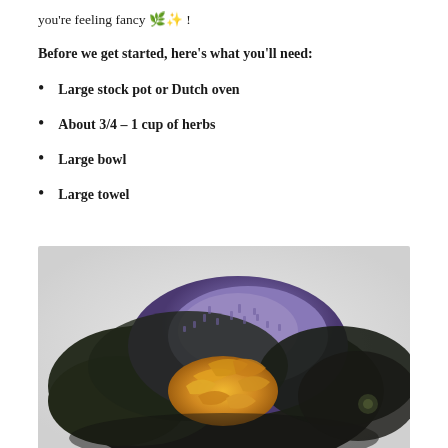you're feeling fancy 🌿✨ !
Before we get started, here's what you'll need:
Large stock pot or Dutch oven
About 3/4 – 1 cup of herbs
Large bowl
Large towel
[Figure (photo): A pile of mixed dried herbs including lavender, green tea, marigold petals, and other botanicals arranged on a white surface]